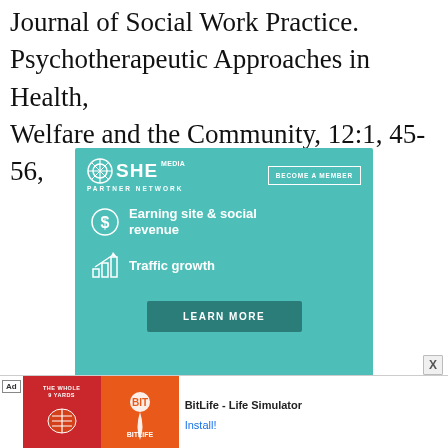Journal of Social Work Practice. Psychotherapeutic Approaches in Health, Welfare and the Community, 12:1, 45-56,
[Figure (infographic): SHE Media Partner Network advertisement. Teal background. Logo with circle icon, SHE MEDIA text, BECOME A MEMBER button. Features: dollar sign icon with 'Earning site & social revenue', bar chart icon with 'Traffic growth'. LEARN MORE button at bottom.]
[Figure (infographic): Bottom banner ad showing two app icons for 'The Whole 9 Yards' (red football jersey) and BitLife (orange/sperm icon). Text reads 'BitLife - Life Simulator' with Install! link.]